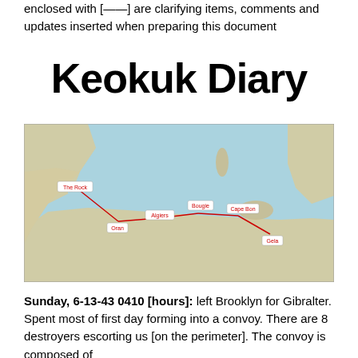enclosed with [——] are clarifying items, comments and updates inserted when preparing this document
Keokuk Diary
[Figure (map): Map of the western Mediterranean Sea region showing labeled waypoints: The Rock, Oran, Algiers, Bougie, Cape Bon, Gela — connected by red lines indicating a convoy route from Gibraltar along the North African coast toward Sicily.]
Sunday, 6-13-43 0410 [hours]: left Brooklyn for Gibralter. Spent most of first day forming into a convoy. There are 8 destroyers escorting us [on the perimeter]. The convoy is composed of